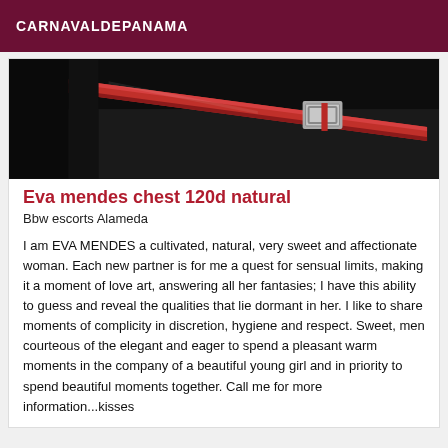CARNAVALDEPANAMA
[Figure (photo): Partial view of a woman wearing a red leather belt over a dark outfit, close-up fashion/profile photo on dark background]
Eva mendes chest 120d natural
Bbw escorts Alameda
I am EVA MENDES a cultivated, natural, very sweet and affectionate woman. Each new partner is for me a quest for sensual limits, making it a moment of love art, answering all her fantasies; I have this ability to guess and reveal the qualities that lie dormant in her. I like to share moments of complicity in discretion, hygiene and respect. Sweet, men courteous of the elegant and eager to spend a pleasant warm moments in the company of a beautiful young girl and in priority to spend beautiful moments together. Call me for more information...kisses